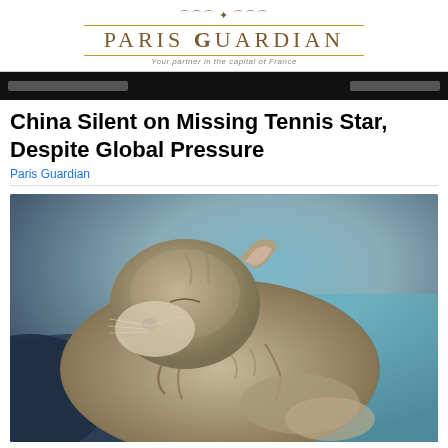Paris Guardian — Your partner in the capital of France
[Figure (other): Navigation bar with dark background and pill-shaped menu items]
China Silent on Missing Tennis Star, Despite Global Pressure
Paris Guardian
[Figure (photo): Close-up photograph of a sleeping tabby cat curled up, showing its ear and fur markings, resting against blue and denim-colored fabric]